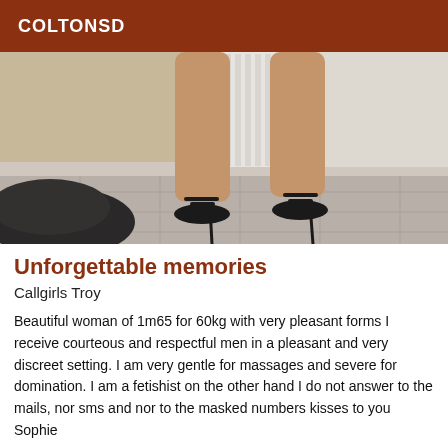COLTONSD
[Figure (photo): Photo of a woman's legs wearing black high-heeled strappy sandals, standing on a tiled floor next to a white radiator, with a dark leather object in the foreground left.]
Unforgettable memories
Callgirls Troy
Beautiful woman of 1m65 for 60kg with very pleasant forms I receive courteous and respectful men in a pleasant and very discreet setting. I am very gentle for massages and severe for domination. I am a fetishist on the other hand I do not answer to the mails, nor sms and nor to the masked numbers kisses to you Sophie